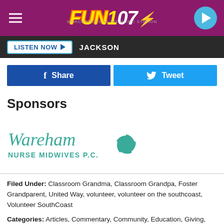FUN 107 — LISTEN NOW JACKSON
[Figure (logo): FUN 107 radio station logo with yellow and white stylized text on purple/magenta background header with hamburger menu and play button]
LISTEN NOW ▶  JACKSON
Share  Tweet
Sponsors
[Figure (logo): Wareham Nurse Midwives P.C. logo with teal cursive and sans-serif text and decorative pinwheel/flower emblem]
Filed Under: Classroom Grandma, Classroom Grandpa, Foster Grandparent, United Way, volunteer, volunteer on the southcoast, Volunteer SouthCoast
Categories: Articles, Commentary, Community, Education, Giving, Local Stuff